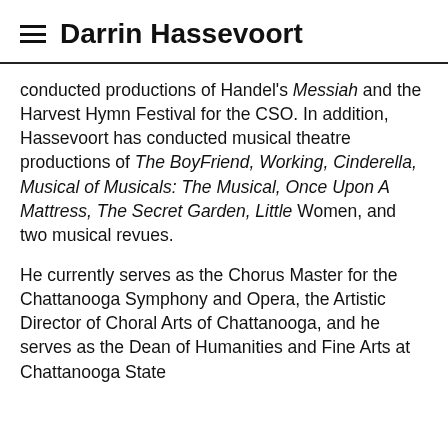Darrin Hassevoort
conducted productions of Handel's Messiah and the Harvest Hymn Festival for the CSO. In addition, Hassevoort has conducted musical theatre productions of The BoyFriend, Working, Cinderella, Musical of Musicals: The Musical, Once Upon A Mattress, The Secret Garden, Little Women, and two musical revues.
He currently serves as the Chorus Master for the Chattanooga Symphony and Opera, the Artistic Director of Choral Arts of Chattanooga, and he serves as the Dean of Humanities and Fine Arts at Chattanooga State